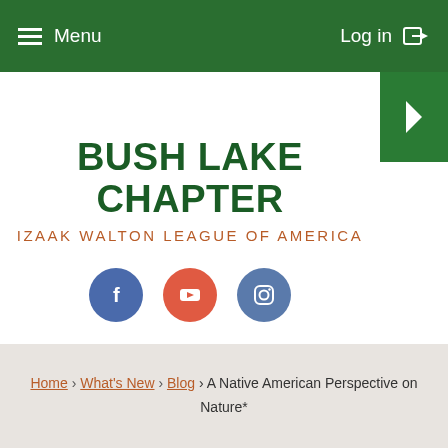Menu  Log in
BUSH LAKE CHAPTER
IZAAK WALTON LEAGUE OF AMERICA
[Figure (other): Three social media icon buttons: Facebook (blue circle with f), YouTube (red-orange circle with play button), Instagram (blue-grey circle with camera icon)]
Home > What's New > Blog > A Native American Perspective on Nature*